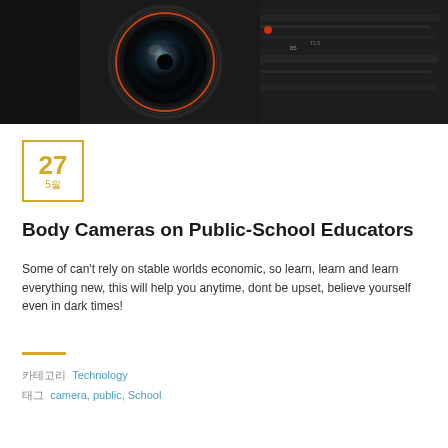[Figure (photo): Close-up photo of a camera lens with dark bokeh background, showing lens elements and barrel details]
27
5월
Body Cameras on Public-School Educators
Some of can't rely on stable worlds economic, so learn, learn and learn everything new, this will help you anytime, dont be upset, believe yourself even in dark times!
카테고리  Technology
태그  camera, public, School